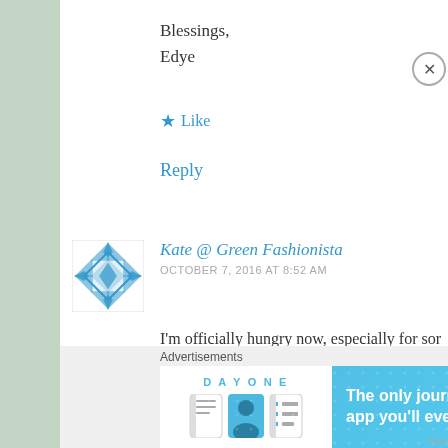Blessings,
Edye
Like
Reply
[Figure (illustration): Blue geometric snowflake/quilt pattern avatar for Kate @ Green Fashionista]
Kate @ Green Fashionista
OCTOBER 7, 2016 AT 8:52 AM
I'm officially hungry now, especially for som…
Green Fashionista
Like
Advertisements
[Figure (screenshot): DAY ONE journaling app advertisement banner with blue background and icons]